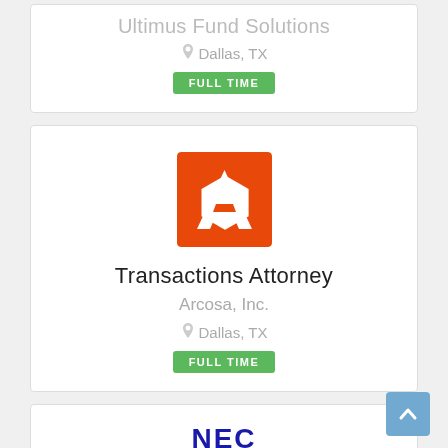Ultimus Fund Solutions
Dallas, TX
FULL TIME
[Figure (logo): Arcosa Inc. logo — orange square with white stylized A letter]
Transactions Attorney
Arcosa, Inc.
Dallas, TX
FULL TIME
[Figure (logo): NEC logo in dark blue bold letters]